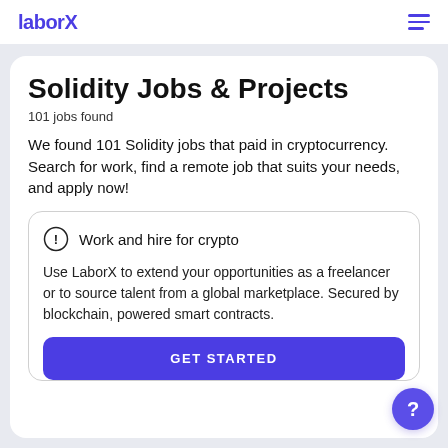laborX
Solidity Jobs & Projects
101 jobs found
We found 101 Solidity jobs that paid in cryptocurrency.
Search for work, find a remote job that suits your needs, and apply now!
Work and hire for crypto
Use LaborX to extend your opportunities as a freelancer or to source talent from a global marketplace. Secured by blockchain, powered smart contracts.
GET STARTED